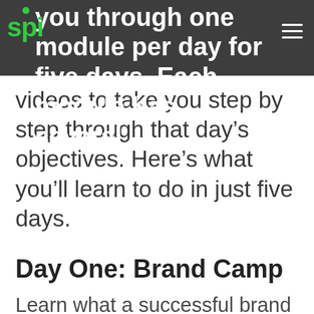you through one module per day for five days. Each module has several
videos to take you step by step through that day's objectives. Here's what you'll learn to do in just five days.
Day One: Brand Camp
Learn what a successful brand is all about, choose your brand name, and set up your WordPress website and email account